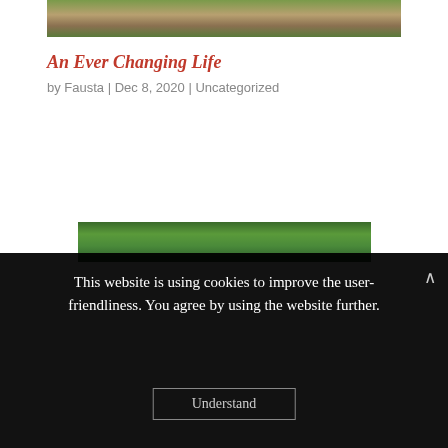[Figure (photo): Partial top image of a wooden path or bridge with green foliage and trees, viewed from above]
An Ever Changing Life
by Fausta | Dec 8, 2020 | Uncategorized
[Figure (photo): Partial bottom image showing a green forest or wooded area]
This website is using cookies to improve the user-friendliness. You agree by using the website further.
Understand